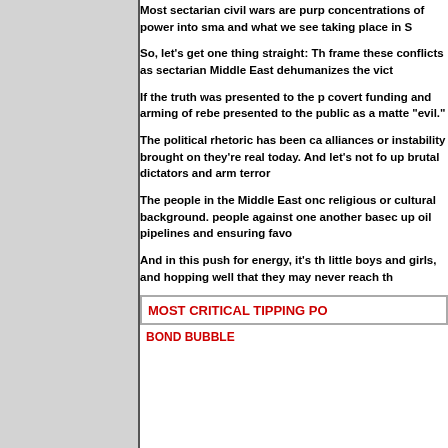[Figure (other): Gray rectangle panel on the left side of the page]
Most sectarian civil wars are purp concentrations of power into sma and what we see taking place in S
So, let's get one thing straight: Th frame these conflicts as sectarian Middle East dehumanizes the vict
If the truth was presented to the p covert funding and arming of rebe presented to the public as a matte "evil."
The political rhetoric has been ca alliances or instability brought on they're real today. And let's not fo up brutal dictators and arm terror
The people in the Middle East onc religious or cultural background. people against one another basec up oil pipelines and ensuring favo
And in this push for energy, it's th little boys and girls, and hopping well that they may never reach th
MOST CRITICAL TIPPING PO
BOND BUBBLE